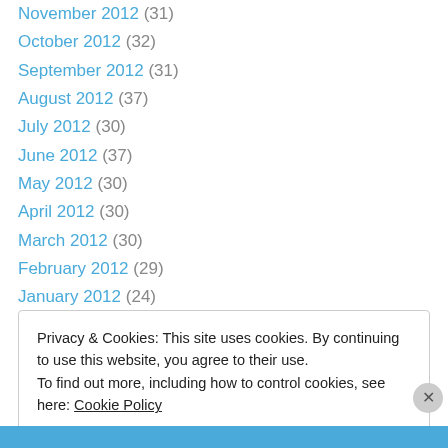November 2012 (31)
October 2012 (32)
September 2012 (31)
August 2012 (37)
July 2012 (30)
June 2012 (37)
May 2012 (30)
April 2012 (30)
March 2012 (30)
February 2012 (29)
January 2012 (24)
December 2011 (29)
November 2011 (24)
Privacy & Cookies: This site uses cookies. By continuing to use this website, you agree to their use. To find out more, including how to control cookies, see here: Cookie Policy
Close and accept